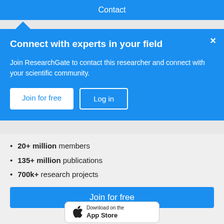Contact
Connect with experts in your field
Join ResearchGate to contact this researcher and connect with your scientific community.
Join for free
Log in
20+ million members
135+ million publications
700k+ research projects
Join for free
[Figure (screenshot): App Store download button with Apple logo]